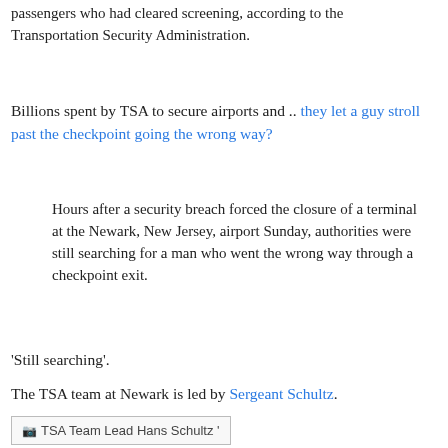passengers who had cleared screening, according to the Transportation Security Administration.
Billions spent by TSA to secure airports and .. they let a guy stroll past the checkpoint going the wrong way?
Hours after a security breach forced the closure of a terminal at the Newark, New Jersey, airport Sunday, authorities were still searching for a man who went the wrong way through a checkpoint exit.
'Still searching'.
The TSA team at Newark is led by Sergeant Schultz.
[Figure (photo): Image placeholder labeled 'TSA Team Lead Hans Schultz']
"I thought you were watching the exit ..."